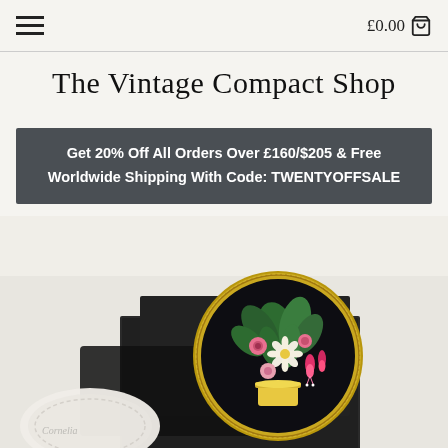≡  £0.00 🛒
The Vintage Compact Shop
Get 20% Off All Orders Over £160/$205 & Free Worldwide Shipping With Code: TWENTYOFFSALE
[Figure (photo): A vintage floral compact mirror with golden rim sitting on top of gift boxes and a black velvet pouch. The compact lid features a colorful floral bouquet with daisies, fuchsias, and roses on a dark background.]